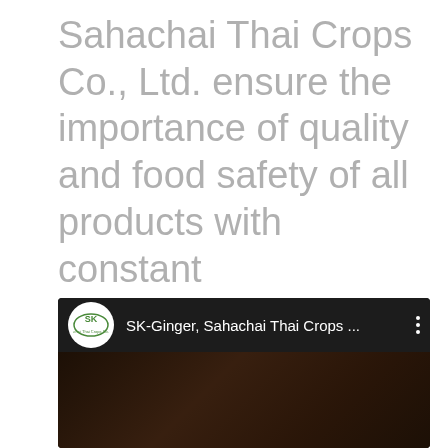Sahachai Thai Crops Co., Ltd. ensure the importance of quality and food safety of all products with constant improvement of technology and social responsibility of the company.
[Figure (screenshot): YouTube video player showing SK-Ginger, Sahachai Thai Crops ... with company logo (SK) on white circle, video title in white text, three-dot menu icon, and dark video thumbnail]